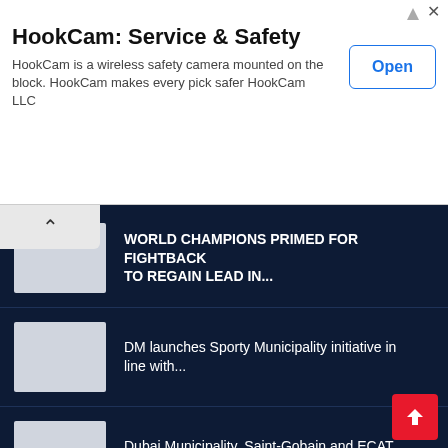[Figure (screenshot): Advertisement banner for HookCam: Service & Safety app with Open button]
HookCam: Service & Safety
HookCam is a wireless safety camera mounted on the block. HookCam makes every pick safer HookCam LLC
WORLD CHAMPIONS PRIMED FOR FIGHTBACK TO REGAIN LEAD IN...
DM launches Sporty Municipality initiative in line with...
Dubai Municipality, Saint-Gobain and ECAT organize...
RASHID HOPES FRENCH ENDURANCE TRIUMPH CAN INSPIRE WORLD...